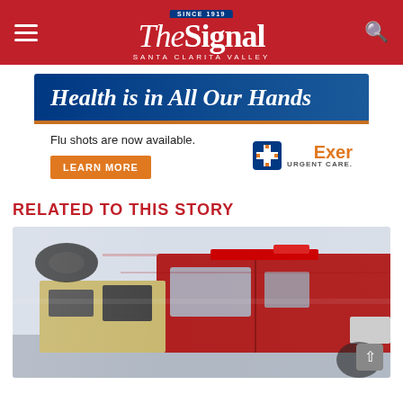The Signal — Santa Clarita Valley
[Figure (infographic): Exer Urgent Care advertisement banner: 'Health is in All Our Hands' with flu shots availability notice, Learn More button, and Exer Urgent Care logo]
RELATED TO THIS STORY
[Figure (photo): A motion-blurred red fire truck speeding past, photographed from close range showing the cab and equipment compartments]